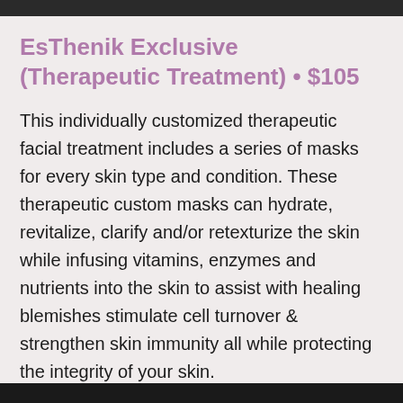[Figure (photo): Top decorative image strip showing partial photo of a person's face, partially obscured by dark and purple bar]
EsThenik Exclusive (Therapeutic Treatment) • $105
This individually customized therapeutic facial treatment includes a series of masks for every skin type and condition. These therapeutic custom masks can hydrate, revitalize, clarify and/or retexturize the skin while infusing vitamins, enzymes and nutrients into the skin to assist with healing blemishes stimulate cell turnover & strengthen skin immunity all while protecting the integrity of your skin.
[Figure (photo): Bottom black bar footer strip]